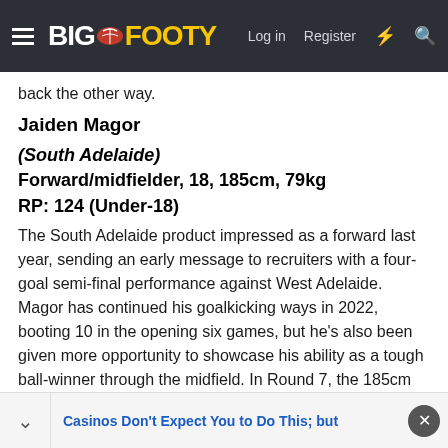BigFooty — Log in | Register
back the other way.
Jaiden Magor
(South Adelaide)
Forward/midfielder, 18, 185cm, 79kg
RP: 124 (Under-18)
The South Adelaide product impressed as a forward last year, sending an early message to recruiters with a four-goal semi-final performance against West Adelaide. Magor has continued his goalkicking ways in 2022, booting 10 in the opening six games, but he's also been given more opportunity to showcase his ability as a tough ball-winner through the midfield. In Round 7, the 185cm teenager finished with 28 disposals, six clearances and three goals.
Casinos Don't Expect You to Do This; but